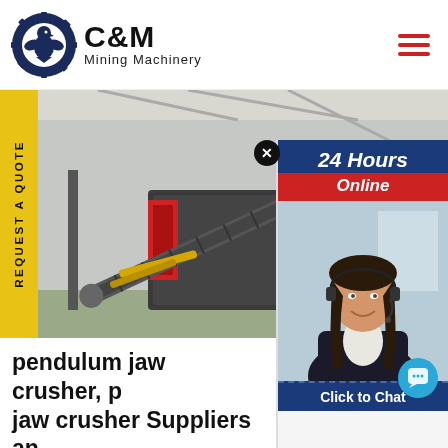[Figure (logo): C&M Mining Machinery logo with eagle in gear circle, navy blue and black]
[Figure (photo): Large industrial jaw crusher machinery in a warehouse/factory setting with conveyor belts]
REQUEST A QUOTE
[Figure (screenshot): 24 Hours Online chat popup with customer service representative wearing headset, Click to Chat button]
pendulum jaw crusher, p jaw crusher Suppliers an
Enquiry